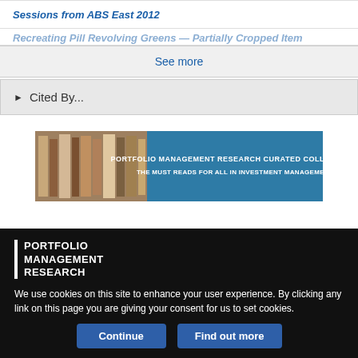Sessions from ABS East 2012
See more
▶ Cited By...
[Figure (illustration): Portfolio Management Research Curated Collections advertisement banner showing books on a shelf with text: PORTFOLIO MANAGEMENT RESEARCH CURATED COLLECTIONS THE MUST READS FOR ALL IN INVESTMENT MANAGEMENT]
PORTFOLIO MANAGEMENT RESEARCH
We use cookies on this site to enhance your user experience. By clicking any link on this page you are giving your consent for us to set cookies.
Continue
Find out more